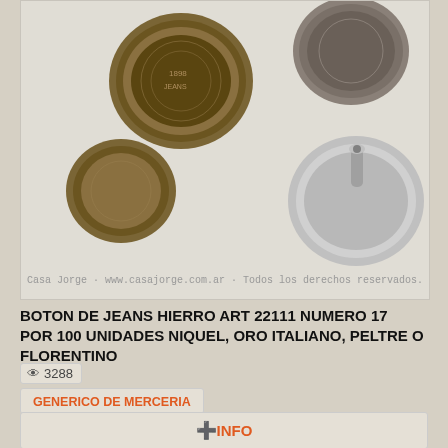[Figure (photo): Photo of metal jeans buttons in bronze/antique finish, showing top and back views. Watermark reads: Casa Jorge - www.casajorge.com.ar - Todos los derechos reservados.]
BOTON DE JEANS HIERRO ART 22111 NUMERO 17 POR 100 UNIDADES NIQUEL, ORO ITALIANO, PELTRE O FLORENTINO
3288
GENERICO DE MERCERIA
⊕INFO
[Figure (photo): Partial photo of colorful round buttons in pink and purple colors on light background.]